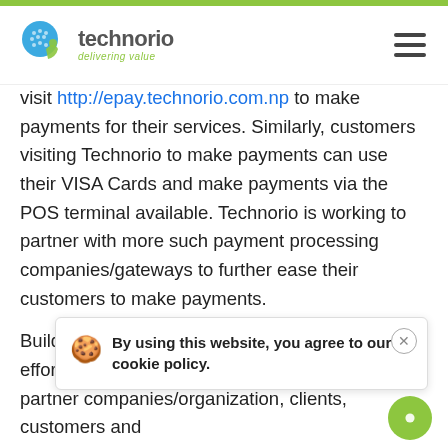Technorio — delivering value
visit http://epay.technorio.com.np to make payments for their services. Similarly, customers visiting Technorio to make payments can use their VISA Cards and make payments via the POS terminal available. Technorio is working to partner with more such payment processing companies/gateways to further ease their customers to make payments.
Building Cashless Nepal is not possible by single effort. Technorio thus is also encouraging its partner companies/organization, clients, customers and employees to adopt cashless transactions. Customers to transition from cash transaction to cashless and make their transactions digitally.
By using this website, you agree to our cookie policy.